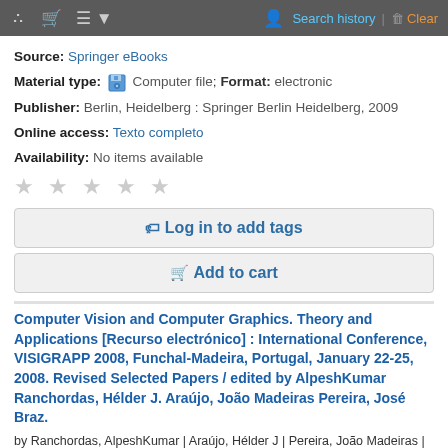Search history | Clear
Source: Springer eBooks
Material type: Computer file; Format: electronic
Publisher: Berlin, Heidelberg : Springer Berlin Heidelberg, 2009
Online access: Texto completo
Availability: No items available
★★★★★
Log in to add tags
Add to cart
Computer Vision and Computer Graphics. Theory and Applications [Recurso electrónico] : International Conference, VISIGRAPP 2008, Funchal-Madeira, Portugal, January 22-25, 2008. Revised Selected Papers / edited by AlpeshKumar Ranchordas, Hélder J. Araújo, João Madeiras Pereira, José Braz.
by Ranchordas, AlpeshKumar | Araújo, Hélder J | Pereira, João Madeiras | Braz, José | SpringerLink (Online service).
Source: Springer eBooks